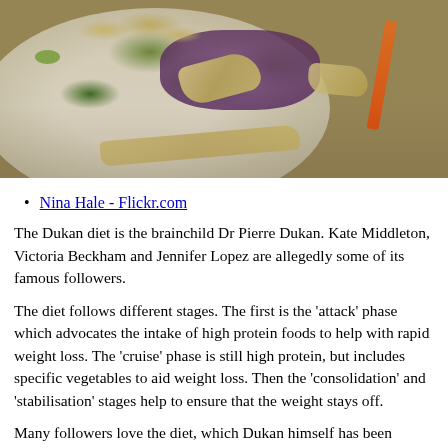[Figure (photo): A plate of mixed salad with purple cabbage, green vegetables, carrots, crispy noodles or chips, and edamame on a wooden table background.]
Nina Hale - Flickr.com
The Dukan diet is the brainchild Dr Pierre Dukan. Kate Middleton, Victoria Beckham and Jennifer Lopez are allegedly some of its famous followers.
The diet follows different stages. The first is the ‘attack’ phase which advocates the intake of high protein foods to help with rapid weight loss. The ‘cruise’ phase is still high protein, but includes specific vegetables to aid weight loss. Then the 'consolidation' and 'stabilisation' stages help to ensure that the weight stays off.
Many followers love the diet, which Dukan himself has been promoting for over 30 years. But does the Dukan diet actually work?